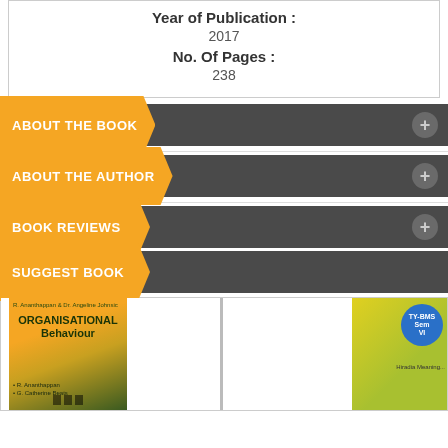Year of Publication :
2017
No. Of Pages :
238
ABOUT THE BOOK
ABOUT THE AUTHOR
BOOK REVIEWS
SUGGEST BOOK
[Figure (photo): Book cover of Organisational Behaviour textbook with orange/green design showing silhouettes of people]
[Figure (photo): Partially visible book cover with yellow-green design and a circular badge reading TY-BMS Sem VI]